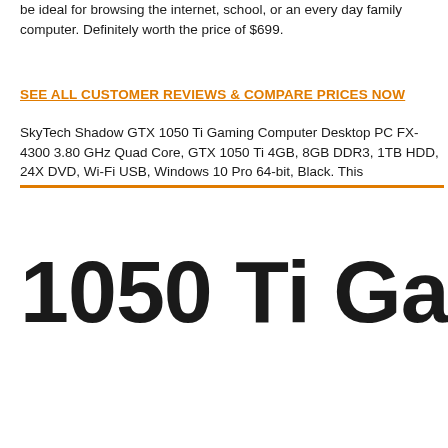be ideal for browsing the internet, school, or an every day family computer. Definitely worth the price of $699.
SEE ALL CUSTOMER REVIEWS & COMPARE PRICES NOW
SkyTech Shadow GTX 1050 Ti Gaming Computer Desktop PC FX-4300 3.80 GHz Quad Core, GTX 1050 Ti 4GB, 8GB DDR3, 1TB HDD, 24X DVD, Wi-Fi USB, Windows 10 Pro 64-bit, Black. This
1050 Ti Gaming C